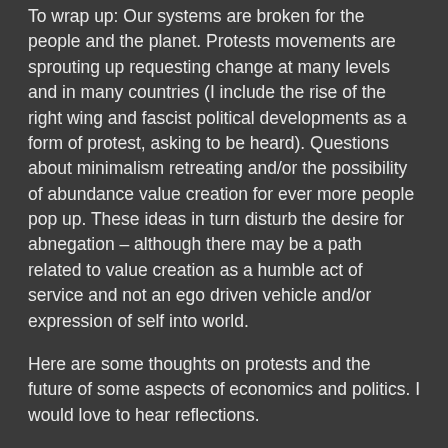To wrap up: Our systems are broken for the people and the planet. Protests movements are sprouting up requesting change at many levels and in many countries (I include the rise of the right wing and fascist political developments as a form of protest, asking to be heard). Questions about minimalism retreating and/or the possibility of abundance value creation for ever more people pop up. These ideas in turn disturb the desire for abnegation – although there may be a path related to value creation as a humble act of service and not an ego driven vehicle and/or expression of self into world.
Here are some thoughts on protests and the future of some aspects of economics and politics. I would love to hear reflections.
Continuing my hunt for my adventures in truth, I'm staying on the Gandhi reading list, next onto Tolstoy!